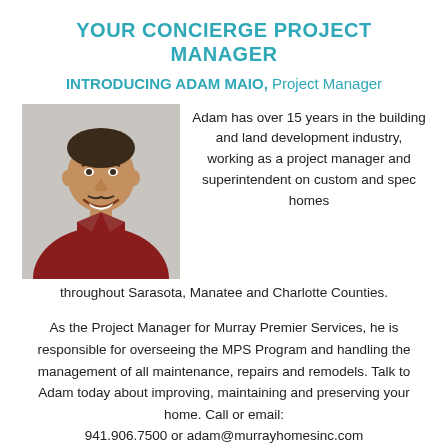YOUR CONCIERGE PROJECT MANAGER
INTRODUCING ADAM MAIO, Project Manager
[Figure (photo): Headshot of Adam Maio, a man in a red shirt, smiling, against a light background.]
Adam has over 15 years in the building and land development industry, working as a project manager and superintendent on custom and spec homes throughout Sarasota, Manatee and Charlotte Counties.
As the Project Manager for Murray Premier Services, he is responsible for overseeing the MPS Program and handling the management of all maintenance, repairs and remodels. Talk to Adam today about improving, maintaining and preserving your home. Call or email: 941.906.7500 or adam@murrayhomesinc.com